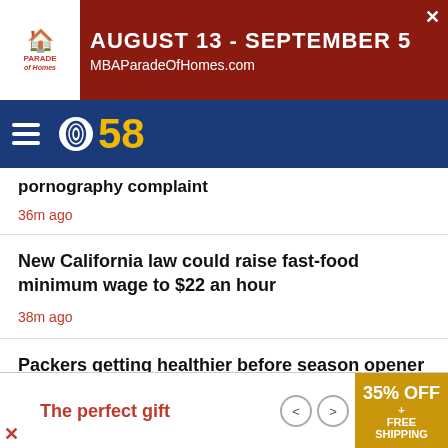[Figure (screenshot): Advertisement banner for MBA Parade of Homes, August 13 - September 5, MBAParadeOfHomes.com, red background with logo]
[Figure (logo): CBS 58 logo with hamburger menu on blue navigation bar]
pornography complaint
36m ago
New California law could raise fast-food minimum wage to $22 an hour
38m ago
Packers getting healthier before season opener
56m ago
[Figure (screenshot): Bottom advertisement: The perfect gift, 35% OFF + FREE SHIPPING]